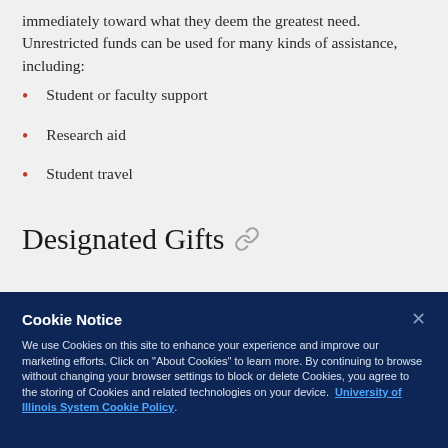immediately toward what they deem the greatest need. Unrestricted funds can be used for many kinds of assistance, including:
Student or faculty support
Research aid
Student travel
Designated Gifts
Cookie Notice
We use Cookies on this site to enhance your experience and improve our marketing efforts. Click on "About Cookies" to learn more. By continuing to browse without changing your browser settings to block or delete Cookies, you agree to the storing of Cookies and related technologies on your device.  University of Illinois System Cookie Policy.